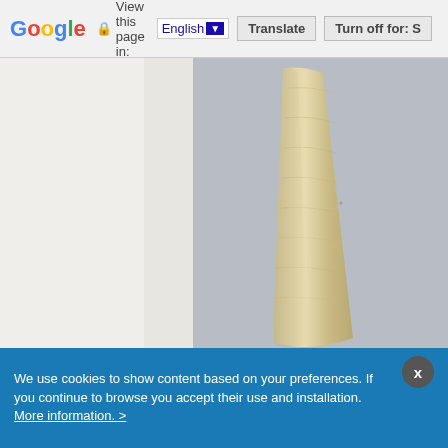[Figure (screenshot): Google Translate toolbar at the top of a browser page showing 'View this page in: English [dropdown] Translate | Turn off for: S' with Google logo]
[Figure (photo): Close-up photo of a beige/cream colored stone or rock artifact with a textured rough surface, photographed against a light gray background. The stone appears tall and conical or pillar-like.]
We use cookies to show content based on your preferences. If you continue to browse you accept their use and installation. More information. >